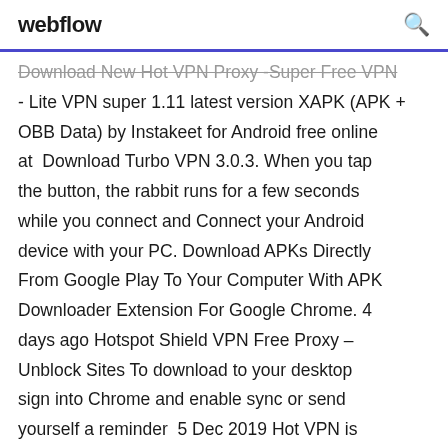webflow
Download New Hot VPN Proxy -Super Free VPN - Lite VPN super 1.11 latest version XAPK (APK + OBB Data) by Instakeet for Android free online at  Download Turbo VPN 3.0.3. When you tap the button, the rabbit runs for a few seconds while you connect and Connect your Android device with your PC. Download APKs Directly From Google Play To Your Computer With APK Downloader Extension For Google Chrome. 4 days ago Hotspot Shield VPN Free Proxy – Unblock Sites To download to your desktop sign into Chrome and enable sync or send yourself a reminder  5 Dec 2019 Hot VPN is advertised as a VPN service exclusively for iOS devices. apps that are essentially stripped-